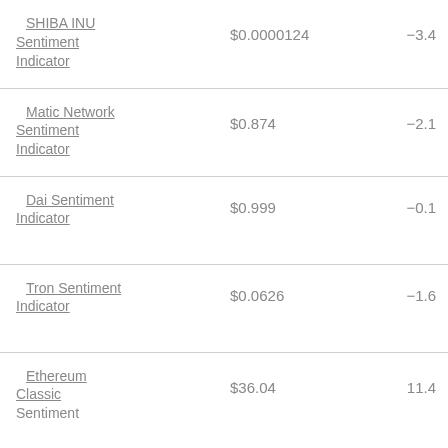| Asset | Price | Change % | Other % |
| --- | --- | --- | --- |
| SHIBA INU Sentiment Indicator | $0.0000124 | -3.4 | -73 |
| Matic Network Sentiment Indicator | $0.874 | -2.1 | -21 |
| Dai Sentiment Indicator | $0.999 | -0.1 | -27 |
| Tron Sentiment Indicator | $0.0626 | -1.6 | -66 |
| Ethereum Classic Sentiment | $36.04 | 11.4 | 65. |